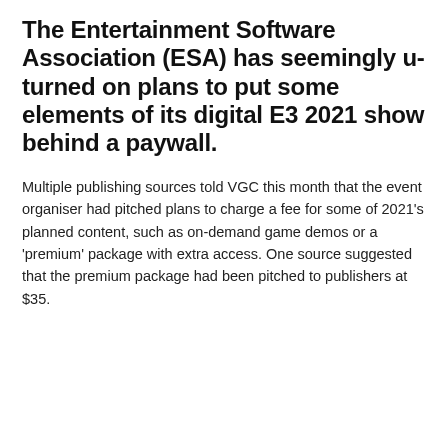[Figure (photo): E3 2021 logo signage photo showing large red letter E and gold/yellow number 3 against a dark/black background with stars, with an orange vertical stripe on the left edge]
The Entertainment Software Association (ESA) has seemingly u-turned on plans to put some elements of its digital E3 2021 show behind a paywall.
Multiple publishing sources told VGC this month that the event organiser had pitched plans to charge a fee for some of 2021's planned content, such as on-demand game demos or a 'premium' package with extra access. One source suggested that the premium package had been pitched to publishers at $35.